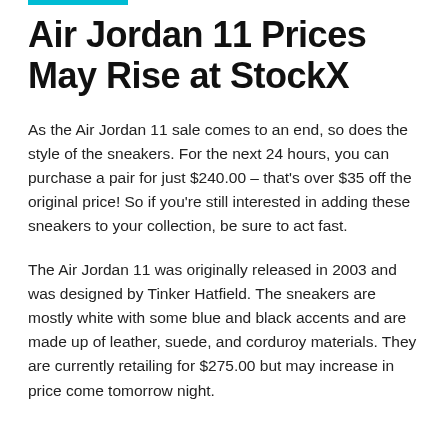Air Jordan 11 Prices May Rise at StockX
As the Air Jordan 11 sale comes to an end, so does the style of the sneakers. For the next 24 hours, you can purchase a pair for just $240.00 – that's over $35 off the original price! So if you're still interested in adding these sneakers to your collection, be sure to act fast.
The Air Jordan 11 was originally released in 2003 and was designed by Tinker Hatfield. The sneakers are mostly white with some blue and black accents and are made up of leather, suede, and corduroy materials. They are currently retailing for $275.00 but may increase in price come tomorrow night.